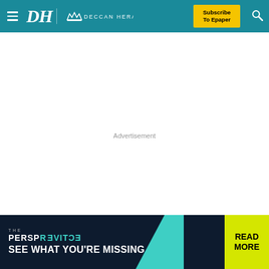DH Deccan Herald — Subscribe To Epaper
Advertisement
[Figure (screenshot): Deccan Herald 'The Perspective' promotional banner — dark navy background with teal accent, yellow READ MORE button. Text: THE / PERSP ECTIVE / SEE WHAT YOU'RE MISSING]